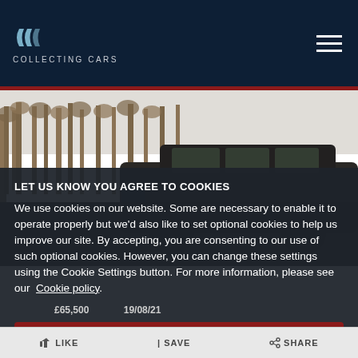COLLECTING CARS
[Figure (photo): Dark SUV (Range Rover) photographed outdoors with bare winter trees in background]
LET US KNOW YOU AGREE TO COOKIES
We use cookies on our website. Some are necessary to enable it to operate properly but we'd also like to set optional cookies to help us improve our site. By accepting, you are consenting to our use of such optional cookies. However, you can change these settings using the Cookie Settings button. For more information, please see our Cookie policy.
£65,500  19/08/21
YES, I AGREE
COOKIE SETTINGS
LIKE  |SAVE  SHARE